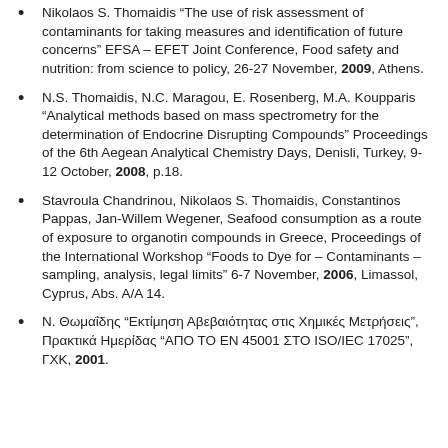Nikolaos S. Thomaidis “The use of risk assessment of contaminants for taking measures and identification of future concerns” EFSA – EFET Joint Conference, Food safety and nutrition: from science to policy, 26-27 November, 2009, Athens.
N.S. Thomaidis, N.C. Maragou, E. Rosenberg, M.A. Koupparis “Analytical methods based on mass spectrometry for the determination of Endocrine Disrupting Compounds” Proceedings of the 6th Aegean Analytical Chemistry Days, Denisli, Turkey, 9-12 October, 2008, p.18.
Stavroula Chandrinou, Nikolaos S. Thomaidis, Constantinos Pappas, Jan-Willem Wegener, Seafood consumption as a route of exposure to organotin compounds in Greece, Proceedings of the International Workshop “Foods to Dye for – Contaminants – sampling, analysis, legal limits” 6-7 November, 2006, Limassol, Cyprus, Abs. A/A 14.
Ν. Θωμαίδης “Εκτίμηση Αβεβαιότητας στις Χημικές Μετρήσεις”, Πρακτικά Ημερίδας “ΑΠΟ ΤΟ ΕΝ 45001 ΣΤΟ ISO/IEC 17025”, ΓΧΚ, 2001.